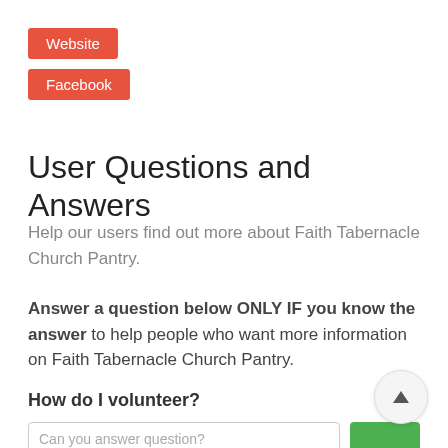Website
Facebook
User Questions and Answers
Help our users find out more about Faith Tabernacle Church Pantry.
Answer a question below ONLY IF you know the answer to help people who want more information on Faith Tabernacle Church Pantry.
How do I volunteer?
Can you answer question?